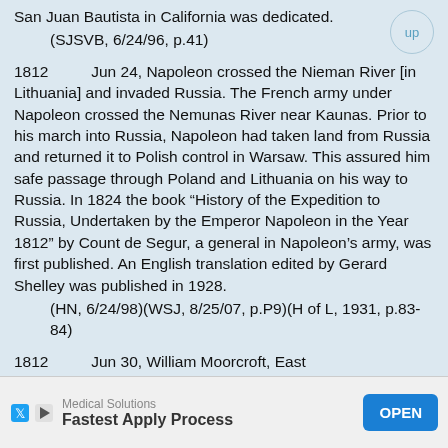San Juan Bautista in California was dedicated.
(SJSVB, 6/24/96, p.41)
1812    Jun 24, Napoleon crossed the Nieman River [in Lithuania] and invaded Russia. The French army under Napoleon crossed the Nemunas River near Kaunas. Prior to his march into Russia, Napoleon had taken land from Russia and returned it to Polish control in Warsaw. This assured him safe passage through Poland and Lithuania on his way to Russia. In 1824 the book “History of the Expedition to Russia, Undertaken by the Emperor Napoleon in the Year 1812” by Count de Segur, a general in Napoleon’s army, was first published. An English translation edited by Gerard Shelley was published in 1928.
(HN, 6/24/98)(WSJ, 8/25/07, p.P9)(H of L, 1931, p.83-84)
1812    Jun 30, William Moorcroft, East
[Figure (other): Advertisement banner: Medical Solutions - Fastest Apply Process, with OPEN button]